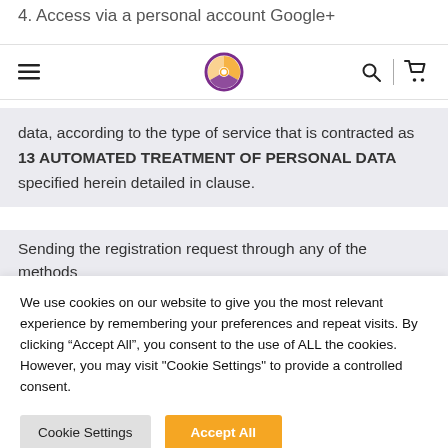4. Access via a personal account Google+
[Figure (logo): Navigation bar with hamburger menu, circular logo (yellow/purple), search icon, and shopping cart icon]
data, according to the type of service that is contracted as 13 AUTOMATED TREATMENT OF PERSONAL DATA specified herein detailed in clause.
Sending the registration request through any of the methods
We use cookies on our website to give you the most relevant experience by remembering your preferences and repeat visits. By clicking "Accept All", you consent to the use of ALL the cookies. However, you may visit "Cookie Settings" to provide a controlled consent.
Cookie Settings | Accept All